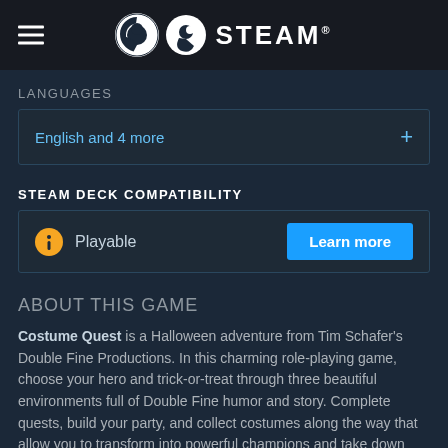STEAM
LANGUAGES
English and 4 more
STEAM DECK COMPATIBILITY
Playable
ABOUT THIS GAME
Costume Quest is a Halloween adventure from Tim Schafer's Double Fine Productions. In this charming role-playing game, choose your hero and trick-or-treat through three beautiful environments full of Double Fine humor and story. Complete quests, build your party, and collect costumes along the way that allow you to transform into powerful champions and take down